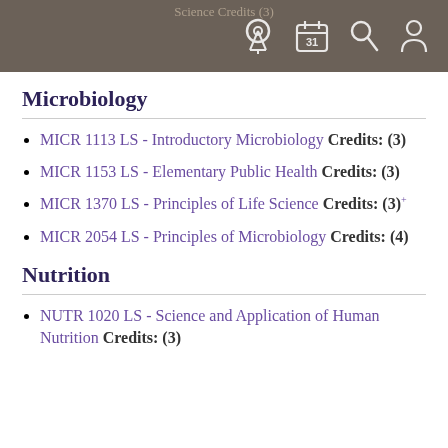Science Credits (3)
Microbiology
MICR 1113 LS - Introductory Microbiology Credits: (3)
MICR 1153 LS - Elementary Public Health Credits: (3)
MICR 1370 LS - Principles of Life Science Credits: (3) +
MICR 2054 LS - Principles of Microbiology Credits: (4)
Nutrition
NUTR 1020 LS - Science and Application of Human Nutrition Credits: (3)